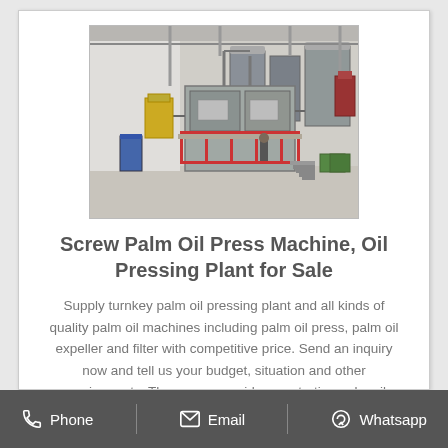[Figure (photo): Industrial palm oil pressing plant interior showing large metal machinery, platforms with red railings, processing equipment, pipes and tanks in a warehouse setting]
Screw Palm Oil Press Machine, Oil Pressing Plant for Sale
Supply turnkey palm oil pressing plant and all kinds of quality palm oil machines including palm oil press, palm oil expeller and filter with competitive price. Send an inquiry now and tell us your budget, situation and other requirements. Then we can guide you starting palm oil
Phone   Email   Whatsapp